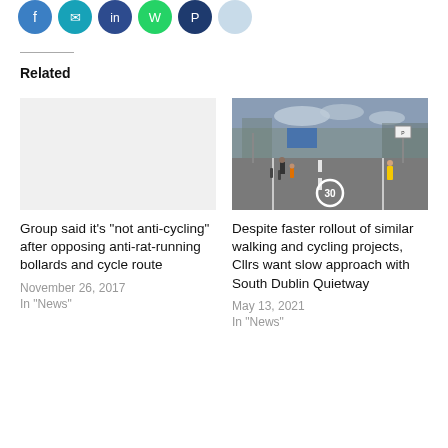[Figure (other): Social media share icon circles: blue (Facebook), teal/email, dark blue, green (WhatsApp), dark blue, light blue/grey]
Related
Group said it’s “not anti-cycling” after opposing anti-rat-running bollards and cycle route
November 26, 2017
In "News"
[Figure (photo): Street scene with cyclists and pedestrians on a road with bike lanes and bollards, one person in yellow jacket visible]
Despite faster rollout of similar walking and cycling projects, Cllrs want slow approach with South Dublin Quietway
May 13, 2021
In "News"